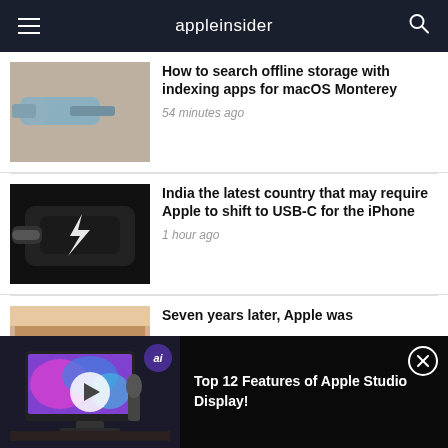appleinsider
[Figure (photo): USB cable connector on wooden surface]
How to search offline storage with indexing apps for macOS Monterey
54 minutes ago
[Figure (photo): Black USB-C / Thunderbolt connector close-up]
India the latest country that may require Apple to shift to USB-C for the iPhone
1 hour ago
[Figure (photo): Partial view of a desk/monitor setup]
Seven years later, Apple was
[Figure (screenshot): Video ad thumbnail: Apple Studio Display setup with play button and ai badge]
Top 12 Features of Apple Studio Display!